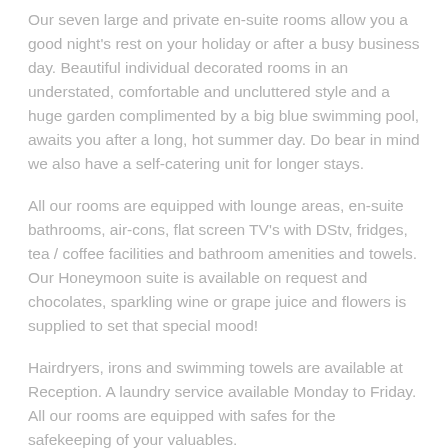Our seven large and private en-suite rooms allow you a good night's rest on your holiday or after a busy business day. Beautiful individual decorated rooms in an understated, comfortable and uncluttered style and a huge garden complimented by a big blue swimming pool, awaits you after a long, hot summer day. Do bear in mind we also have a self-catering unit for longer stays.
All our rooms are equipped with lounge areas, en-suite bathrooms, air-cons, flat screen TV's with DStv, fridges, tea / coffee facilities and bathroom amenities and towels. Our Honeymoon suite is available on request and chocolates, sparkling wine or grape juice and flowers is supplied to set that special mood!
Hairdryers, irons and swimming towels are available at Reception. A laundry service available Monday to Friday. All our rooms are equipped with safes for the safekeeping of your valuables.